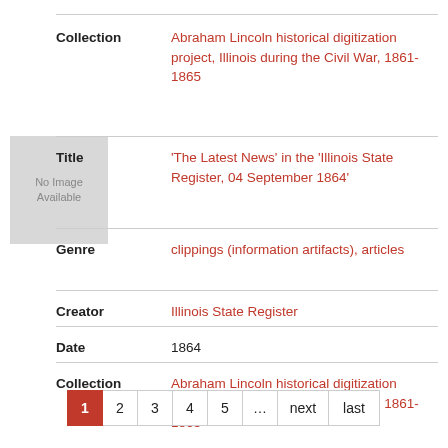| Field | Value |
| --- | --- |
| Collection | Abraham Lincoln historical digitization project, Illinois during the Civil War, 1861-1865 |
| Title | 'The Latest News' in the 'Illinois State Register, 04 September 1864' |
| Genre | clippings (information artifacts), articles |
| Creator | Illinois State Register |
| Date | 1864 |
| Collection | Abraham Lincoln historical digitization project, Illinois during the Civil War, 1861-1865 |
1 2 3 4 5 … next last